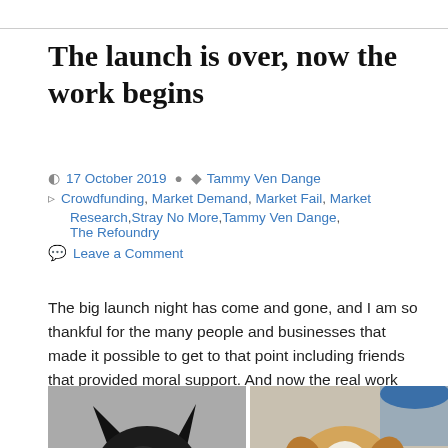The launch is over, now the work begins
17 October 2019 · Tammy Ven Dange
Crowdfunding, Market Demand, Market Fail, Market Research, Stray No More, Tammy Ven Dange, The Refoundry
Leave a Comment
The big launch night has come and gone, and I am so thankful for the many people and businesses that made it possible to get to that point including friends that provided moral support. And now the real work begins.
[Figure (photo): Two dogs side by side: a black German Shepherd on the left and a brown and white Jack Russell Terrier on the right looking at the camera]